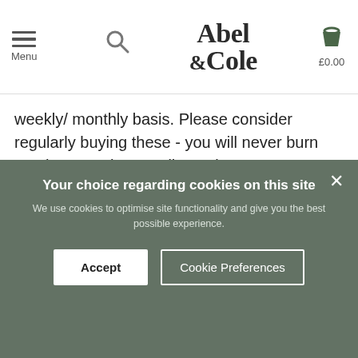Abel & Cole — Menu / Search / £0.00
weekly/ monthly basis. Please consider regularly buying these - you will never burn another *cranky* candle again!
Your choice regarding cookies on this site
We use cookies to optimise site functionality and give you the best possible experience.
Accept | Cookie Preferences